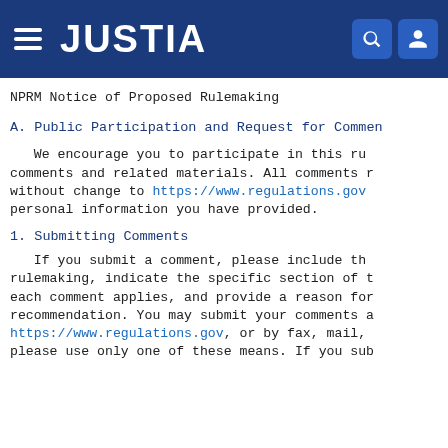[Figure (logo): Justia website header bar with hamburger menu, JUSTIA logo, search icon, and user icon on dark blue background]
NPRM Notice of Proposed Rulemaking
A. Public Participation and Request for Comments
We encourage you to participate in this rulemaking by submitting comments and related materials. All comments received will be posted without change to https://www.regulations.gov, including any personal information you have provided.
1. Submitting Comments
If you submit a comment, please include the docket number for this rulemaking, indicate the specific section of the document to which each comment applies, and provide a reason for each suggestion or recommendation. You may submit your comments and material online at https://www.regulations.gov, or by fax, mail, or hand delivery, but please use only one of these means. If you sub